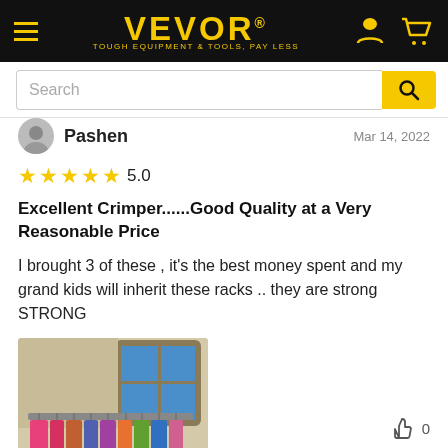VEVOR® TOUGH EQUIPMENT & TOOLS, PAY LESS
Search
Pashen    Mar 14, 2022
5.0
Excellent Crimper......Good Quality at a Very Reasonable Price
I brought 3 of these , it's the best money spent and my grand kids will inherit these racks .. they are strong STRONG
[Figure (photo): A clothing rack holding many colorful garments on hangers, visible near a window with blue sky in a room.]